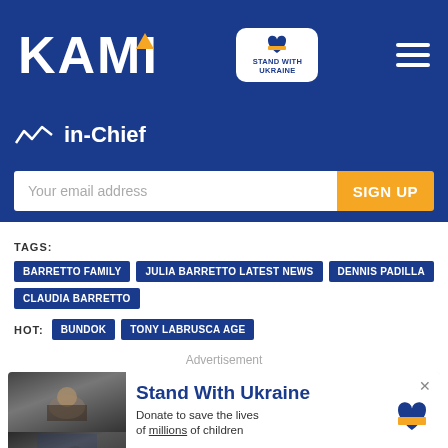[Figure (logo): KAMI logo with yellow triangle accent on white text, on dark blue background, with Stand With Ukraine badge and hamburger menu]
in-Chief
Your email address
SIGN UP
TAGS: BARRETTO FAMILY  JULIA BARRETTO LATEST NEWS  DENNIS PADILLA  CLAUDIA BARRETTO
HOT: BUNDOK  TONY LABRUSCA AGE
Advertisement
[Figure (photo): Advertisement for Stand With Ukraine showing a child holding a cat and refugees. Contains text: Stand With Ukraine, Donate to save the lives of millions of children, and Help Protect Ukrainian Families with a DONATE NOW button.]